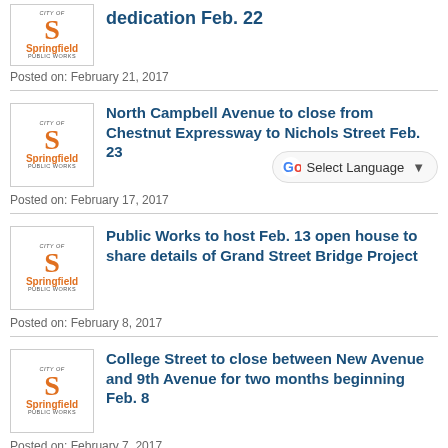dedication Feb. 22
Posted on: February 21, 2017
North Campbell Avenue to close from Chestnut Expressway to Nichols Street Feb. 23
Posted on: February 17, 2017
[Figure (other): Google Translate widget with Select Language dropdown]
Public Works to host Feb. 13 open house to share details of Grand Street Bridge Project
Posted on: February 8, 2017
College Street to close between New Avenue and 9th Avenue for two months beginning Feb. 8
Posted on: February 7, 2017
North Campbell Avenue and Scott Street to close Feb. 7 - 10 for road repairs